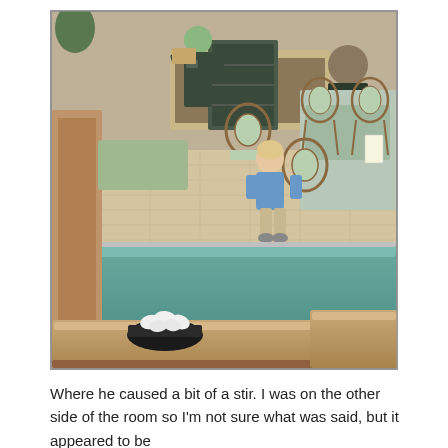[Figure (photo): Interior of a casual restaurant/diner. In the foreground is a booth table with a small black basket of sugar packets. A teal/green padded booth seat divides foreground from the dining area. In the middle ground, a small toddler in a blue hoodie and khaki pants stands facing away near rattan chairs and tables. In the background, restaurant staff in dark uniforms stand behind a counter area.]
Where he caused a bit of a stir. I was on the other side of the room so I'm not sure what was said, but it appeared to be